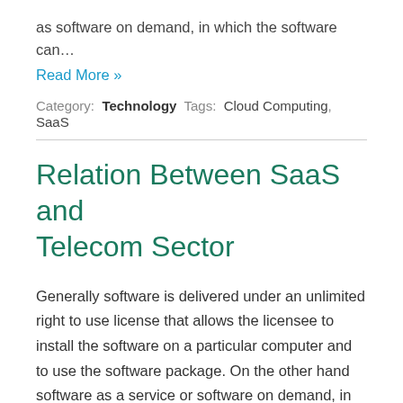as software on demand, in which the software can…
Read More »
Category: Technology Tags: Cloud Computing, SaaS
Relation Between SaaS and Telecom Sector
Generally software is delivered under an unlimited right to use license that allows the licensee to install the software on a particular computer and to use the software package. On the other hand software as a service or software on demand, in which the software can be accessed by the company through the internet and… Read More »